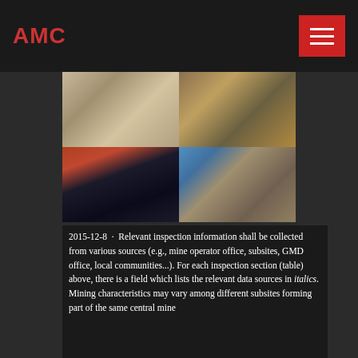AMC
[Figure (photo): Four photographs of mining operations: top-left shows a sand/gravel processing site with conveyor equipment; top-right shows yellow heavy machinery (excavator/loader) in a mine; bottom-left shows a large red ship-loading crane over a dark ore pile at a port; bottom-right shows blue and yellow crushing/processing plant equipment.]
2015-12-8 · Relevant inspection information shall be collected from various sources (e.g., mine operator office, subsites, GMD office, local communities...). For each inspection section (table) above, there is a field which lists the relevant data sources in italics. Mining characteristics may vary among different subsites forming part of the same central mine